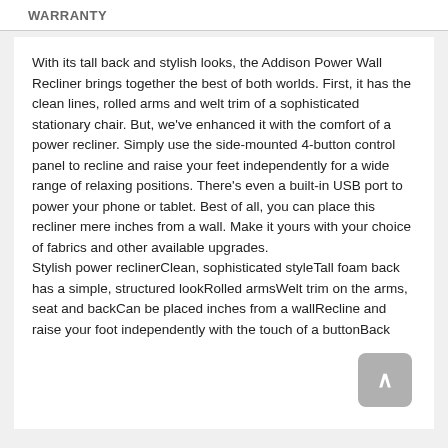WARRANTY
With its tall back and stylish looks, the Addison Power Wall Recliner brings together the best of both worlds. First, it has the clean lines, rolled arms and welt trim of a sophisticated stationary chair. But, we've enhanced it with the comfort of a power recliner. Simply use the side-mounted 4-button control panel to recline and raise your feet independently for a wide range of relaxing positions. There's even a built-in USB port to power your phone or tablet. Best of all, you can place this recliner mere inches from a wall. Make it yours with your choice of fabrics and other available upgrades.
Stylish power reclinerClean, sophisticated styleTall foam back has a simple, structured lookRolled armsWelt trim on the arms, seat and backCan be placed inches from a wallRecline and raise your foot independently with the touch of a buttonBack